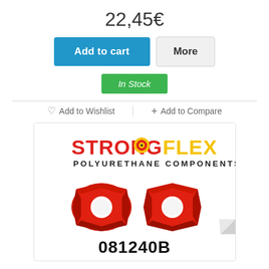22,45€
Add to cart
More
In Stock
♡ Add to Wishlist
+ Add to Compare
[Figure (photo): Strongflex polyurethane components product image showing two red polyurethane bushings with part number 081240B on a white background with the Strongflex logo]
081240B